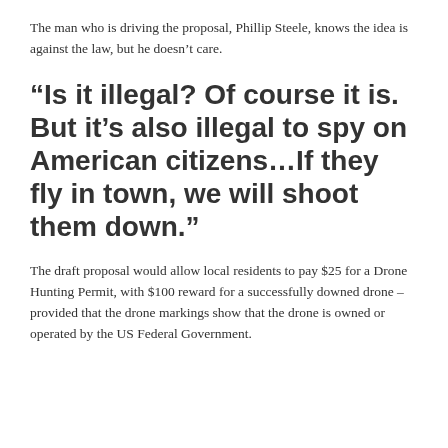The man who is driving the proposal, Phillip Steele, knows the idea is against the law, but he doesn't care.
“Is it illegal? Of course it is. But it’s also illegal to spy on American citizens…If they fly in town, we will shoot them down.”
The draft proposal would allow local residents to pay $25 for a Drone Hunting Permit, with $100 reward for a successfully downed drone – provided that the drone markings show that the drone is owned or operated by the US Federal Government.